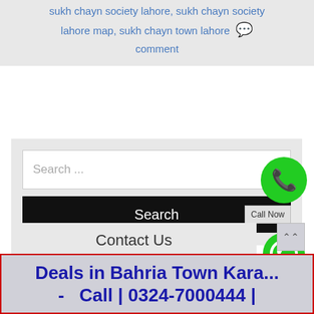sukh chayn society lahore, sukh chayn society lahore map, sukh chayn town lahore 💬 comment
[Figure (screenshot): Search input box with placeholder text 'Search ...' and a black Search button with 'Call Now' button overlay]
[Figure (logo): Green circle with white phone icon (Call Now button)]
Contact Us
Your Name :::
[Figure (logo): Green WhatsApp icon]
Deals in Bahria Town Kara... - Call | 0324-7000444 |